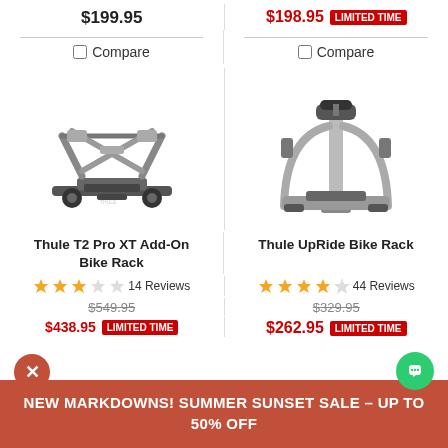$199.95
$241.70 $198.95 LIMITED TIME
Compare
Compare
[Figure (photo): Thule T2 Pro XT Add-On Bike Rack product photo showing a black hitch-mounted bike rack with crossed arm design]
[Figure (photo): Thule UpRide Bike Rack product photo showing a silver and black upright single-arm bike rack]
Thule T2 Pro XT Add-On Bike Rack
Thule UpRide Bike Rack
14 Reviews
44 Reviews
$549.95
$329.95
$438.95 LIMITED TIME
$262.95 LIMITED TIME
NEW MARKDOWNS! SUMMER SUNSET SALE – UP TO 50% OFF